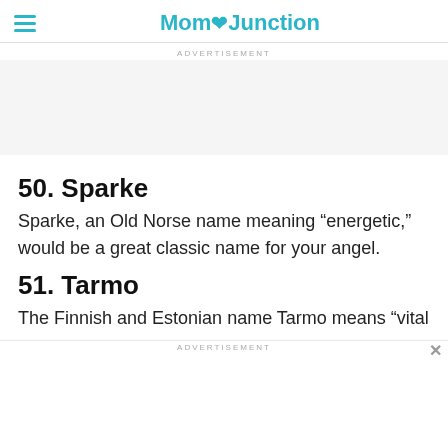MomJunction
ADVERTISEMENT
50. Sparke
Sparke, an Old Norse name meaning “energetic,” would be a great classic name for your angel.
51. Tarmo
The Finnish and Estonian name Tarmo means “vital
ADVERTISEMENT